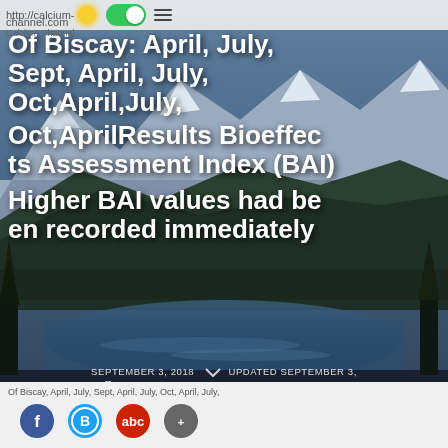http://calcium-channel.com | Calcium Channel
Of Biscay: April, July, Sept, April, July, Oct, April, July, Oct, AprilResults Bioeffects Assessment Index (BAI) Higher BAI values had been recorded immediately
SEPTEMBER 3, 2018  UPDATED SEPTEMBER 3, > uncategorized > Of Biscay, April,July,Sept,April,July,
Of Biscay, April, July, Sept, April, July, Oct, April, July,